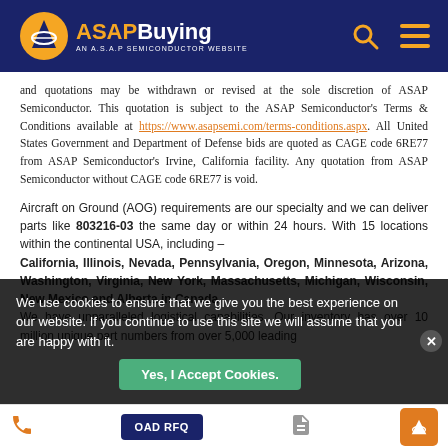ASAP Buying - AN A.S.A.P SEMICONDUCTOR WEBSITE
and quotations may be withdrawn or revised at the sole discretion of ASAP Semiconductor. This quotation is subject to the ASAP Semiconductor's Terms & Conditions available at https://www.asapsemi.com/terms-conditions.aspx. All United States Government and Department of Defense bids are quoted as CAGE code 6RE77 from ASAP Semiconductor's Irvine, California facility. Any quotation from ASAP Semiconductor without CAGE code 6RE77 is void.
Aircraft on Ground (AOG) requirements are our specialty and we can deliver parts like 803216-03 the same day or within 24 hours. With 15 locations within the continental USA, including – California, Illinois, Nevada, Pennsylvania, Oregon, Minnesota, Arizona, Washington, Virginia, New York, Massachusetts, Michigan, Wisconsin, New Mexico and Alberta in Canada. We have unparalleled logistical capabilities. Our inventory has over 10 million unique part numbers from over 5,000 leading
We use cookies to ensure that we give you the best experience on our website. If you continue to use this site we will assume that you are happy with it.